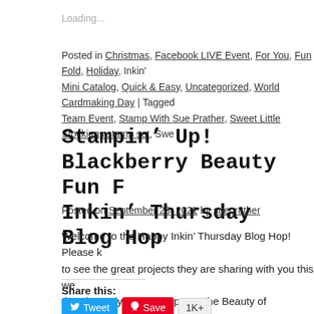Loading...
Posted in Christmas, Facebook LIVE Event, For You, Fun Fold, Holiday, Inkin' Mini Catalog, Quick & Easy, Uncategorized, World Cardmaking Day | Tagged Team Event, Stamp With Sue Prather, Sweet Little Stockings stamp set, Swe...
Stampin' Up! Blackberry Beauty Fun F Inkin' Thursday Blog Hop
Posted on September 23, 2021 by suepr8ther
Welcome to the Happy Inkin' Thursday Blog Hop!  Please k to see the great projects they are sharing with you this we the Elegantly Said Stamp Set, the Beauty of Tomorrow St
Share this:
Tweet  Save  1K+